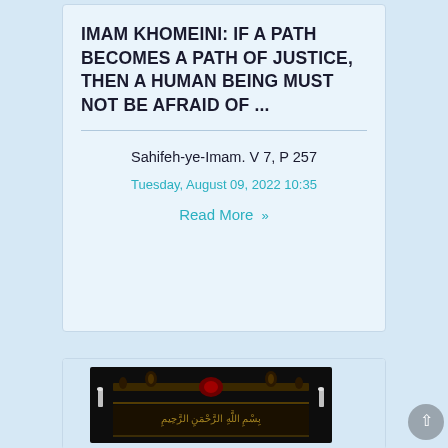IMAM KHOMEINI: IF A PATH BECOMES A PATH OF JUSTICE, THEN A HUMAN BEING MUST NOT BE AFRAID OF ...
Sahifeh-ye-Imam. V 7, P 257
Tuesday, August 09, 2022 10:35
Read More »
[Figure (photo): Islamic decorative banner or calligraphy artwork with dark background featuring Arabic text and ornamental designs]